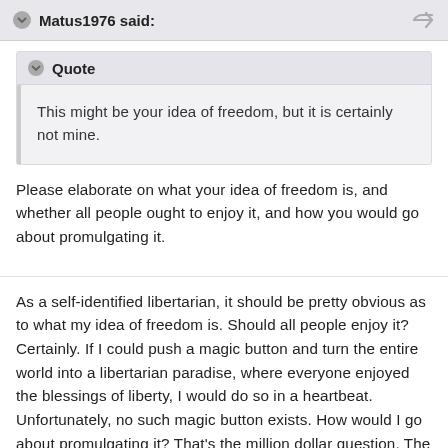Matus1976 said:
Quote
This might be your idea of freedom, but it is certainly not mine.
Please elaborate on what your idea of freedom is, and whether all people ought to enjoy it, and how you would go about promulgating it.
As a self-identified libertarian, it should be pretty obvious as to what my idea of freedom is. Should all people enjoy it? Certainly. If I could push a magic button and turn the entire world into a libertarian paradise, where everyone enjoyed the blessings of liberty, I would do so in a heartbeat. Unfortunately, no such magic button exists. How would I go about promulgating it? That’s the million dollar question. The first priority should be trying to